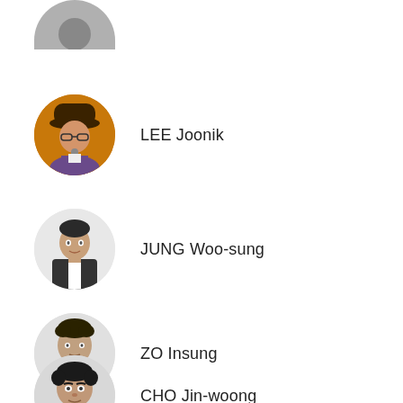[Figure (photo): Partial circular avatar photo of a person in a suit at the top of the page, cropped]
LEE Joonik
[Figure (photo): Circular avatar photo of LEE Joonik wearing a hat and holding a microphone, orange/warm background]
JUNG Woo-sung
[Figure (photo): Circular avatar black-and-white photo of JUNG Woo-sung in a suit]
ZO Insung
[Figure (photo): Circular avatar black-and-white photo of ZO Insung in a turtleneck]
CHO Jin-woong
[Figure (photo): Circular avatar photo of CHO Jin-woong, partially visible at bottom of page]